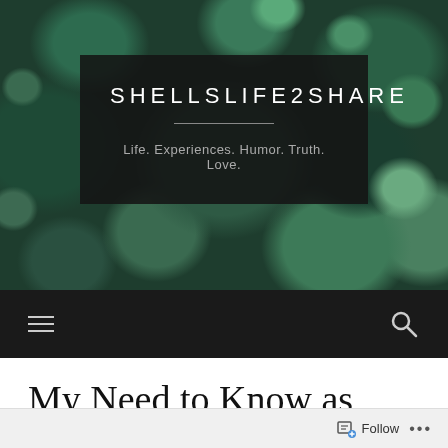[Figure (photo): Blog header with succulent plant background and dark overlay box containing blog name SHELLSLIFE2SHARE and tagline]
SHELLSLIFE2SHARE
Life. Experiences. Humor. Truth. Love.
[Figure (infographic): Black navigation bar with hamburger menu icon on left and search icon on right]
My Need to Know as You Fight My Foe
Follow